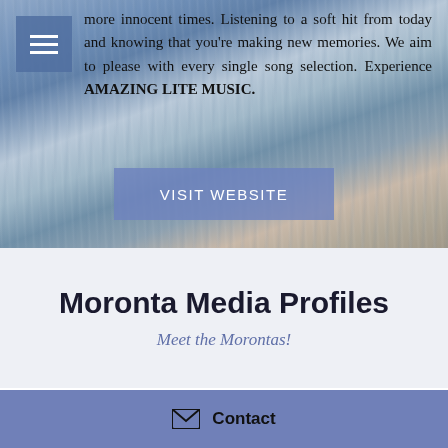[Figure (photo): Ocean water surface with ripples, bluish-grey tones with warm peachy tones at lower portion, serving as hero background image]
more innocent times. Listening to a soft hit from today and knowing that you're making new memories. We aim to please with every single song selection. Experience AMAZING LITE MUSIC.
VISIT WEBSITE
Moronta Media Profiles
Meet the Morontas!
Contact